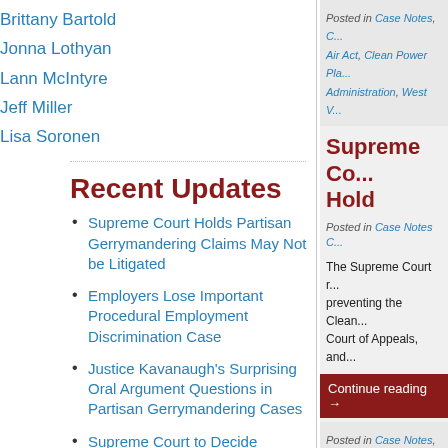Brittany Bartold
Jonna Lothyan
Lann McIntyre
Jeff Miller
Lisa Soronen
Recent Updates
Supreme Court Holds Partisan Gerrymandering Claims May Not be Litigated
Employers Lose Important Procedural Employment Discrimination Case
Justice Kavanaugh's Surprising Oral Argument Questions in Partisan Gerrymandering Cases
Supreme Court to Decide Groundwater Clean Water Act Case
Posted in Case Notes, Clean Air Act, Clean Power Pla..., Administration, West V...
Supreme Co... Hold
Posted in Case Notes C...
The Supreme Court r... preventing the Clean... Court of Appeals, and...
Continue reading →
Posted in Case Notes, C...